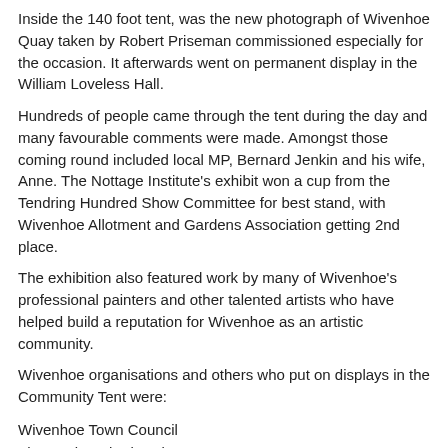Inside the 140 foot tent, was the new photograph of Wivenhoe Quay taken by Robert Priseman commissioned especially for the occasion. It afterwards went on permanent display in the William Loveless Hall.
Hundreds of people came through the tent during the day and many favourable comments were made. Amongst those coming round included local MP, Bernard Jenkin and his wife, Anne. The Nottage Institute's exhibit won a cup from the Tendring Hundred Show Committee for best stand, with Wivenhoe Allotment and Gardens Association getting 2nd place.
The exhibition also featured work by many of Wivenhoe's professional painters and other talented artists who have helped build a reputation for Wivenhoe as an artistic community.
Wivenhoe organisations and others who put on displays in the Community Tent were:
Wivenhoe Town Council
The Engine Shed Project
Wivenhoe Society
The Royal British Legion – Wivenhoe Branch